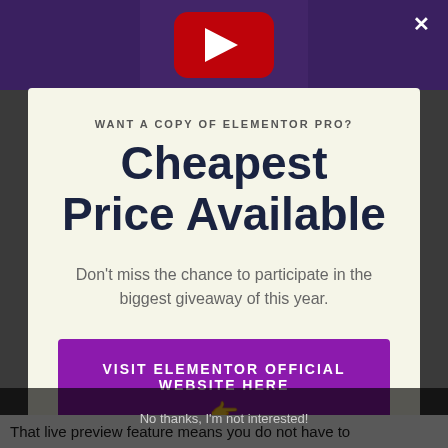[Figure (screenshot): Background showing a YouTube video thumbnail with purple/dark overlay and a close (X) button in the top right corner]
WANT A COPY OF ELEMENTOR PRO?
Cheapest Price Available
Don't miss the chance to participate in the biggest giveaway of this year.
VISIT ELEMENTOR OFFICIAL WEBSITE HERE 👆
No thanks, I'm not interested!
That live preview feature means you do not have to